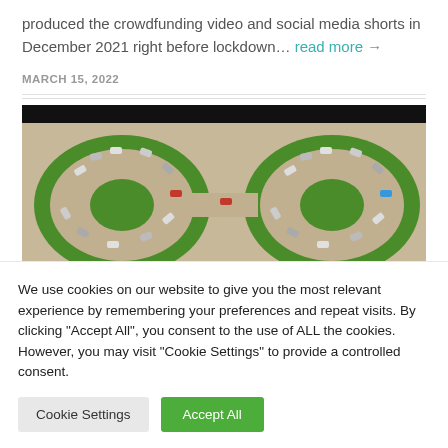produced the crowdfunding video and social media shorts in December 2021 right before lockdown… read more →
MARCH 15, 2022
[Figure (photo): Aerial view of a roundabout with cars and green vegetation, black bar at top of image]
We use cookies on our website to give you the most relevant experience by remembering your preferences and repeat visits. By clicking "Accept All", you consent to the use of ALL the cookies. However, you may visit "Cookie Settings" to provide a controlled consent.
Cookie Settings | Accept All